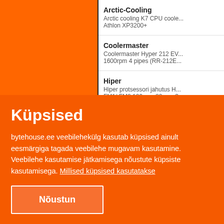Arctic-Cooling
Arctic cooling K7 CPU cooler Athlon XP3200+
Coolermaster
Coolermaster Hyper 212 EV... 1600rpm 4 pipes (RR-212E...
Hiper
Hiper protsessori jahutus H... FM1/ FM2 106mmx80mmx3...
Hiper
Hiper protsessorijahutus HP... 106mmx80mmx35mm
Intel
Intel Box cooler socket 115...
Küpsised
bytehouse.ee veebilehekülg kasutab küpsised ainult eesmärgiga tagada veebilehe mugavam kasutamine. Veebilehe kasutamise jätkamisega nõustute küpsiste kasutamisega. Millised küpsised kasutatakse
Nõustun